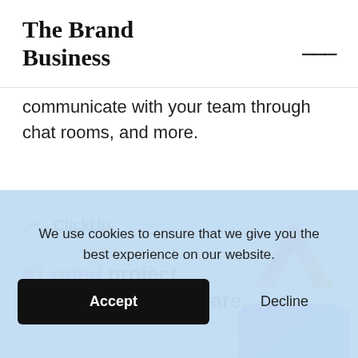The Brand Business
communicate with your team through chat rooms, and more.
[Figure (logo): ClickUp logo and branding with colorful diamond shape graphic. Text: ClickUp. #1 rated project management software.]
We use cookies to ensure that we give you the best experience on our website.
Accept
Decline